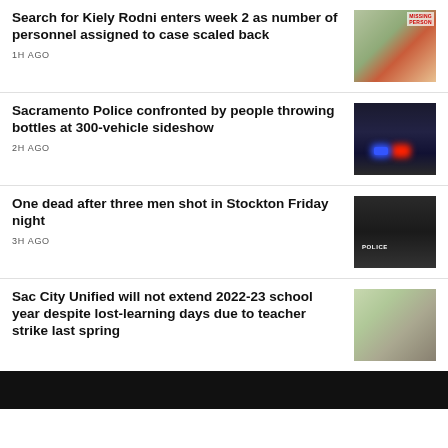Search for Kiely Rodni enters week 2 as number of personnel assigned to case scaled back
1H AGO
[Figure (photo): Missing person poster showing a young woman smiling]
Sacramento Police confronted by people throwing bottles at 300-vehicle sideshow
2H AGO
[Figure (photo): Night scene with police car blue and red lights]
One dead after three men shot in Stockton Friday night
3H AGO
[Figure (photo): Dark police van with POLICE text visible]
Sac City Unified will not extend 2022-23 school year despite lost-learning days due to teacher strike last spring
[Figure (photo): Empty classroom with desks and chairs]